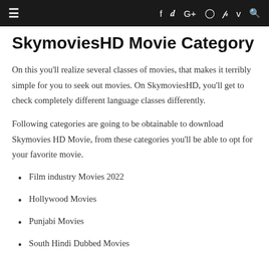≡   f  t  G+  ⊙  p  v  🔍
SkymoviesHD Movie Category
On this you'll realize several classes of movies, that makes it terribly simple for you to seek out movies. On SkymoviesHD, you'll get to check completely different language classes differently.
Following categories are going to be obtainable to download Skymovies HD Movie, from these categories you'll be able to opt for your favorite movie.
Film industry Movies 2022
Hollywood Movies
Punjabi Movies
South Hindi Dubbed Movies